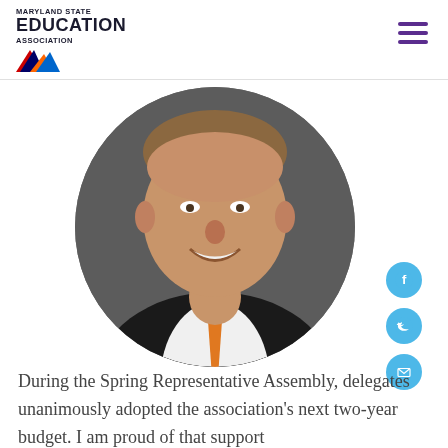MARYLAND STATE EDUCATION ASSOCIATION
[Figure (photo): Circular cropped headshot of a smiling man in a dark suit, white shirt, and orange tie, against a gray background. Social media icons (Facebook, Twitter, email) appear to the right.]
During the Spring Representative Assembly, delegates unanimously adopted the association's next two-year budget. I am proud of that support